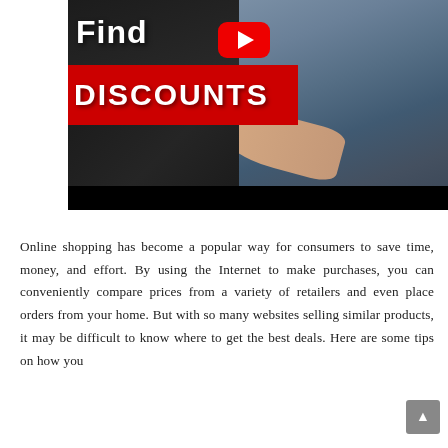[Figure (screenshot): YouTube video thumbnail showing a man pointing at text reading 'Find DISCOUNTS' overlaid on a dark background with a laptop keyboard, with a red YouTube play button visible in the center.]
Online shopping has become a popular way for consumers to save time, money, and effort. By using the Internet to make purchases, you can conveniently compare prices from a variety of retailers and even place orders from your home. But with so many websites selling similar products, it may be difficult to know where to get the best deals. Here are some tips on how you